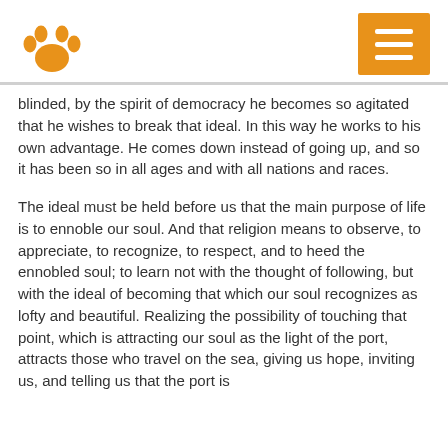[Figure (logo): Orange paw print logo icon]
[Figure (other): Orange menu/hamburger button with three white horizontal lines]
blinded, by the spirit of democracy he becomes so agitated that he wishes to break that ideal. In this way he works to his own advantage. He comes down instead of going up, and so it has been so in all ages and with all nations and races.
The ideal must be held before us that the main purpose of life is to ennoble our soul. And that religion means to observe, to appreciate, to recognize, to respect, and to heed the ennobled soul; to learn not with the thought of following, but with the ideal of becoming that which our soul recognizes as lofty and beautiful. Realizing the possibility of touching that point, which is attracting our soul as the light of the port, attracts those who travel on the sea, giving us hope, inviting us, and telling us that the port is